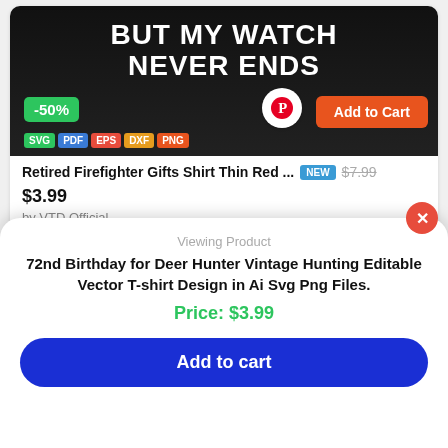[Figure (screenshot): Product image with dark background showing text BUT MY WATCH NEVER ENDS with a -50% badge, SVG/PDF/EPS/DXF/PNG format badges, Pinterest button, and Add to Cart orange button]
Retired Firefighter Gifts Shirt Thin Red ... NEW $7.99 $3.99
by VTD Official
[Figure (screenshot): Product image with dark background showing text PROUD TO BE A with an American flag strip at bottom, and a back-to-top button]
Viewing Product
72nd Birthday for Deer Hunter Vintage Hunting Editable Vector T-shirt Design in Ai Svg Png Files.
Price: $3.99
Add to cart